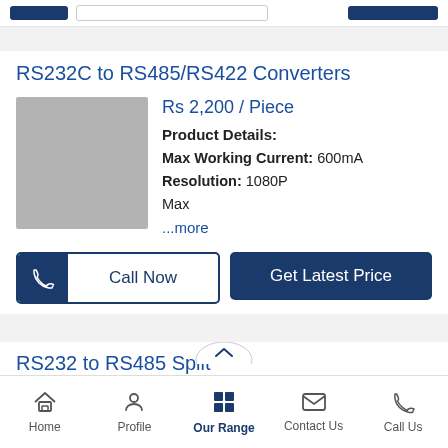[Figure (screenshot): Top navigation bar with blue button, search field, and blue action button, partially visible]
RS232C to RS485/RS422 Converters
[Figure (photo): Product image placeholder (grey box) for RS232C to RS485/RS422 Converter]
Rs 2,200 / Piece
Product Details:
Max Working Current: 600mA
Resolution: 1080P
Max
...more
Call Now
Get Latest Price
RS232 to RS485 Split...
Home   Profile   Our Range   Contact Us   Call Us